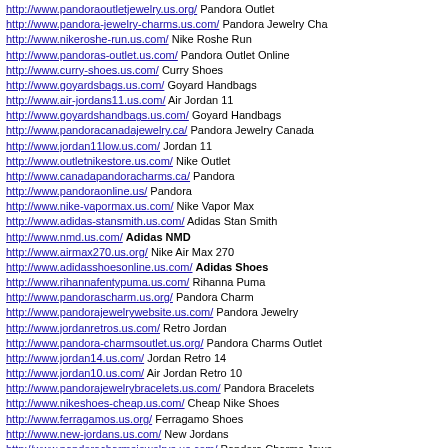http://www.pandoraoutletjewelry.us.org/ Pandora Outlet
http://www.pandora-jewelry-charms.us.com/ Pandora Jewelry Cha
http://www.nikeroshe-run.us.com/ Nike Roshe Run
http://www.pandoras-outlet.us.com/ Pandora Outlet Online
http://www.curry-shoes.us.com/ Curry Shoes
http://www.goyardsbags.us.com/ Goyard Handbags
http://www.air-jordans11.us.com/ Air Jordan 11
http://www.goyardshandbags.us.com/ Goyard Handbags
http://www.pandoracanadajewelry.ca/ Pandora Jewelry Canada
http://www.jordan11low.us.com/ Jordan 11
http://www.outletnikestore.us.com/ Nike Outlet
http://www.canadapandoracharms.ca/ Pandora
http://www.pandoraonline.us/ Pandora
http://www.nike-vapormax.us.com/ Nike Vapor Max
http://www.adidas-stansmith.us.com/ Adidas Stan Smith
http://www.nmd.us.com/ Adidas NMD
http://www.airmax270.us.org/ Nike Air Max 270
http://www.adidasshoesonline.us.com/ Adidas Shoes
http://www.rihannafentypuma.us.com/ Rihanna Puma
http://www.pandorascharm.us.org/ Pandora Charm
http://www.pandorajewelrywebsite.us.com/ Pandora Jewelry
http://www.jordanretros.us.com/ Retro Jordan
http://www.pandora-charmsoutlet.us.org/ Pandora Charms Outlet
http://www.jordan14.us.com/ Jordan Retro 14
http://www.jordan10.us.com/ Air Jordan Retro 10
http://www.pandorajewelrybracelets.us.com/ Pandora Bracelets
http://www.nikeshoes-cheap.us.com/ Cheap Nike Shoes
http://www.ferragamos.us.org/ Ferragamo Shoes
http://www.new-jordans.us.com/ New Jordans
http://www.pandoracharmsjewelrys.us.com/ Pandora Charms Jewe
http://www.nikeairmax98.us/ Nike Air Max 98
http://www.moncler-outletjackets.us.com/ Moncler Outlet
http://www.louboutinshoesheels.us.com/ Louboutin Heels
http://www.pandoraoutlet-charms.us.com/ Pandora Outlet
http://www.katespades-handbags.us.com/ Kate Spade Handbags
http://www.christian-louboutinshoesuk.org.uk/ Christian Louboutin
http://www.fitflopsaleclearances.us.com/ Fitflop Website